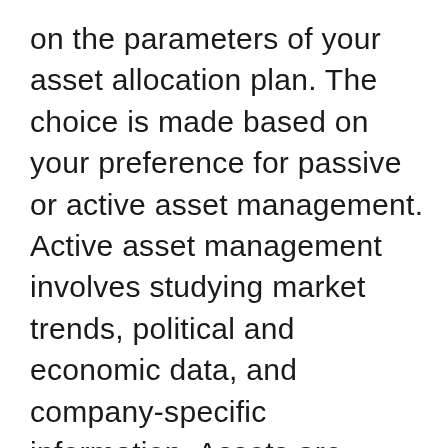on the parameters of your asset allocation plan. The choice is made based on your preference for passive or active asset management. Active asset management involves studying market trends, political and economic data, and company-specific information. Assets are bought and sold based on these parameters.